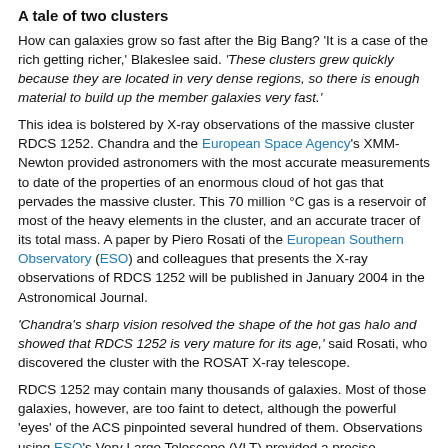A tale of two clusters
How can galaxies grow so fast after the Big Bang? 'It is a case of the rich getting richer,' Blakeslee said. 'These clusters grew quickly because they are located in very dense regions, so there is enough material to build up the member galaxies very fast.'
This idea is bolstered by X-ray observations of the massive cluster RDCS 1252. Chandra and the European Space Agency's XMM-Newton provided astronomers with the most accurate measurements to date of the properties of an enormous cloud of hot gas that pervades the massive cluster. This 70 million °C gas is a reservoir of most of the heavy elements in the cluster, and an accurate tracer of its total mass. A paper by Piero Rosati of the European Southern Observatory (ESO) and colleagues that presents the X-ray observations of RDCS 1252 will be published in January 2004 in the Astronomical Journal.
'Chandra's sharp vision resolved the shape of the hot gas halo and showed that RDCS 1252 is very mature for its age,' said Rosati, who discovered the cluster with the ROSAT X-ray telescope.
RDCS 1252 may contain many thousands of galaxies. Most of those galaxies, however, are too faint to detect, although the powerful 'eyes' of the ACS pinpointed several hundred of them. Observations using ESO's Very Large Telescope (VLT) provided a precise measurement of the distance to the cluster. The ACS and the...